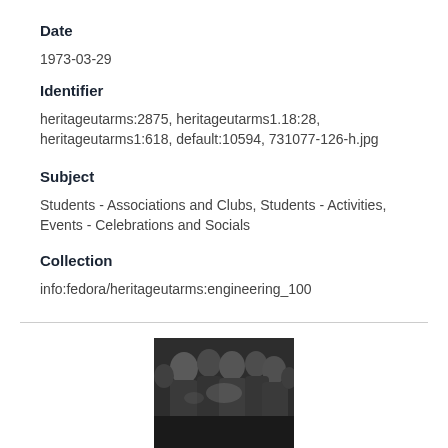Date
1973-03-29
Identifier
heritageutarms:2875, heritageutarms1.18:28, heritageutarms1:618, default:10594, 731077-126-h.jpg
Subject
Students - Associations and Clubs, Students - Activities, Events - Celebrations and Socials
Collection
info:fedora/heritageutarms:engineering_100
[Figure (photo): Black and white photograph showing a group of people gathered closely together, appearing to be students at an event or social gathering.]